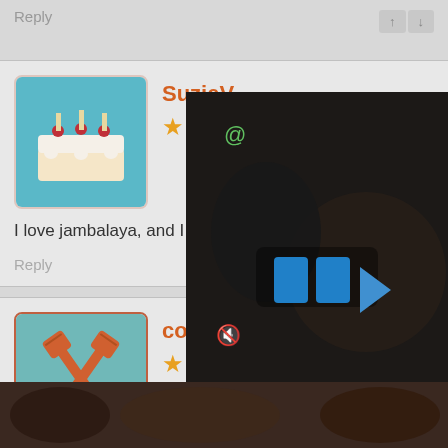Reply
SuzieV
★★★★★
I love jambalaya, and I love mac n cheese. This re
Reply
collagegirl91
★★★★★
This recipe cheese. Also, I like tha dish.
Reply
[Figure (screenshot): Dark video player overlay with blue pause/play buttons and muted speaker icon]
[Figure (photo): Dark food photo strip at bottom of page]